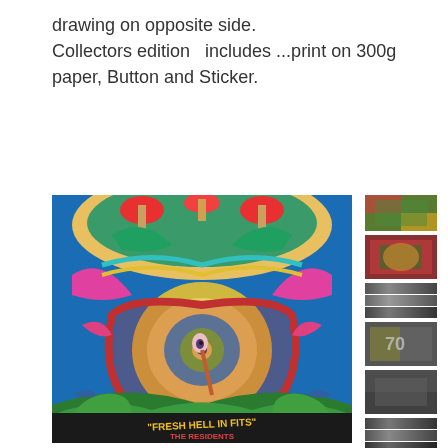drawing on opposite side. Collectors edition  includes ...print on 300g paper, Button and Sticker.
[Figure (illustration): Large colorful psychedelic poster artwork titled 'Fresh Hell In Fits' by The Residents, featuring elaborate surreal imagery with mushrooms, eyes, spirals, and vivid colors in red, green, yellow, teal, and pink. Text at bottom reads: "FRESH HELL IN FITS" THE RESIDENTS.]
[Figure (photo): Column of small thumbnail images showing various detail views of the poster artwork — color thumbnails at top, grayscale/black-and-white thumbnails below.]